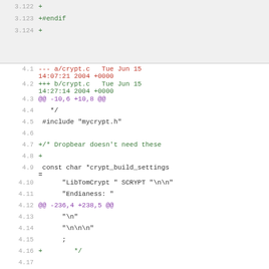3.122  +
3.123  +#endif
3.124  +
4.1    --- a/crypt.c   Tue Jun 15 14:07:21 2004 +0000
4.2    +++ b/crypt.c   Tue Jun 15 14:27:14 2004 +0000
4.3    @@ -10,6 +10,8 @@
4.4     */
4.5     #include "mycrypt.h"
4.6
4.7    +/* Dropbear doesn't need these
4.8    +
4.9     const char *crypt_build_settings =
4.10       "LibTomCrypt " SCRYPT "\n\n"
4.11       "Endianess: "
4.12   @@ -236,4 +238,5 @@
4.13       "\n"
4.14       "\n\n\n"
4.15       ;
4.16   +        */
4.17
5.1    --- /dev/null   Thu Jan 01 00:00:00 1970 +0000
5.2    +++ b/crypt.out Tue Jun 15 14:27:14 2004 +0000
5.3    @@ -0,0 +1,88 @@
5.4    +\BOOKMARK [0][-]{chapter.1}